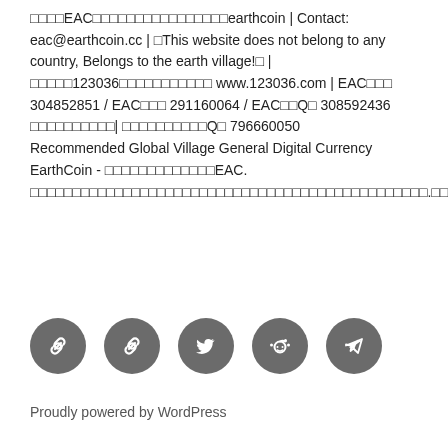□□□□EAC□□□□□□□□□□□□□□□□earthcoin | Contact: eac@earthcoin.cc | □This website does not belong to any country, Belongs to the earth village!□ | □□□□□123036□□□□□□□□□□□ www.123036.com | EAC□□□ 304852851 / EAC□□□ 291160064 / EAC□□Q□ 308592436 □□□□□□□□□□| □□□□□□□□□□Q□ 796660050
Recommended Global Village General Digital Currency EarthCoin - □□□□□□□□□□□□□EAC. □□□□□□□□□□□□□□□□□□□□□□□□□□□□□□□□□□□□□□□□□□□□□□□.□□□□□□□□
[Figure (infographic): Row of 5 dark grey circular social media icon buttons: chain/link icon, chain/link icon, Twitter bird icon, Reddit alien icon, Telegram paper plane icon]
Proudly powered by WordPress